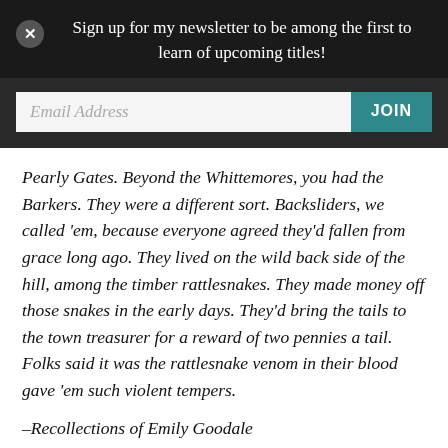Sign up for my newsletter to be among the first to learn of upcoming titles!
Pearly Gates. Beyond the Whittemores, you had the Barkers. They were a different sort. Backsliders, we called 'em, because everyone agreed they'd fallen from grace long ago. They lived on the wild back side of the hill, among the timber rattlesnakes. They made money off those snakes in the early days. They'd bring the tails to the town treasurer for a reward of two pennies a tail. Folks said it was the rattlesnake venom in their blood gave 'em such violent tempers.
–Recollections of Emily Goodale